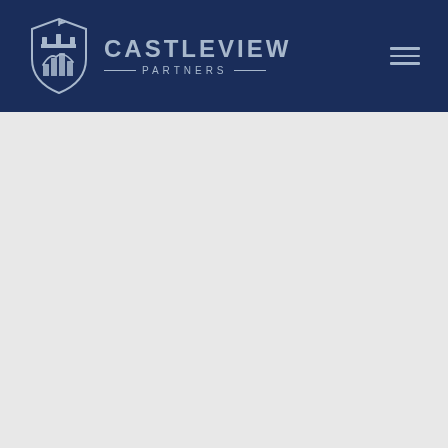[Figure (logo): Castleview Partners logo: shield with castle and bar chart inside, company name to the right, hamburger menu icon top right, all on dark navy blue header background]